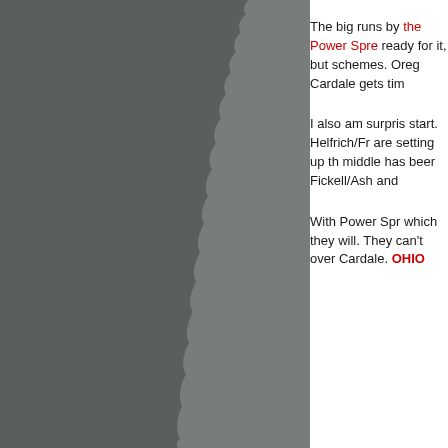[Figure (photo): Dark grey torn paper or rock texture filling the left portion of the page]
The big runs by the Power Spre ready for it, but schemes. Oreg Cardale gets tim
I also am surpris start. Helfrich/Fr are setting up th middle has beer Fickell/Ash and
With Power Spr which they will. They can't over Cardale. OHIO